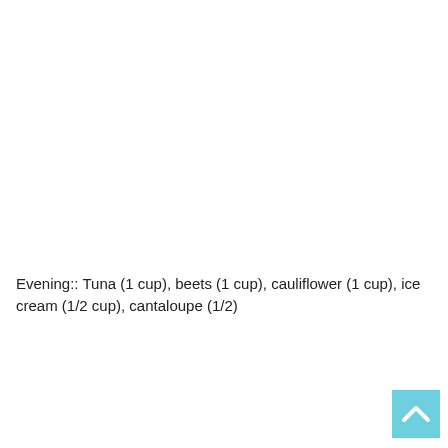Evening:: Tuna (1 cup), beets (1 cup), cauliflower (1 cup), ice cream (1/2 cup), cantaloupe (1/2)
[Figure (other): Light blue square button with a white upward-pointing chevron/arrow icon, positioned in the bottom-right corner of the page.]